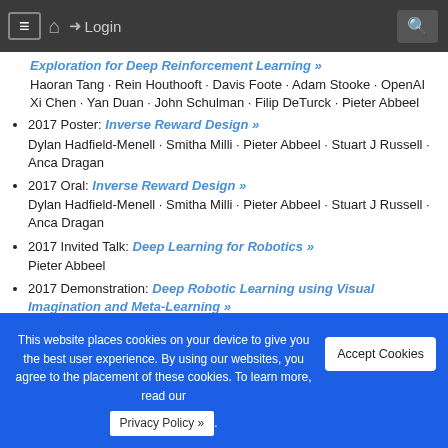≡  🏠  ➜ Login  🔍
Exploration for Deep Reinforcement Learning »
Haoran Tang · Rein Houthooft · Davis Foote · Adam Stooke · OpenAI Xi Chen · Yan Duan · John Schulman · Filip DeTurck · Pieter Abbeel
2017 Poster: Inverse Reward Design »
Dylan Hadfield-Menell · Smitha Milli · Pieter Abbeel · Stuart J Russell · Anca Dragan
2017 Oral: Inverse Reward Design »
Dylan Hadfield-Menell · Smitha Milli · Pieter Abbeel · Stuart J Russell · Anca Dragan
2017 Invited Talk: Deep Learning for Robotics »
Pieter Abbeel
2017 Demonstration: Deep Robotic Learning using Visual Imagination and Meta-Learning »
This website places cookies on your device to give you the best user experience. By using our websites, you agree to the placement of these cookies. To learn more, read our Privacy Policy ».